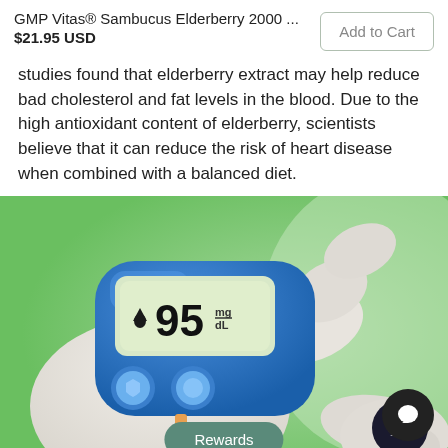GMP Vitas® Sambucus Elderberry 2000 ... $21.95 USD
studies found that elderberry extract may help reduce bad cholesterol and fat levels in the blood. Due to the high antioxidant content of elderberry, scientists believe that it can reduce the risk of heart disease when combined with a balanced diet.
[Figure (photo): A gloved hand holding a blue glucometer displaying 95 mg/dL reading, with a test strip inserted at the bottom, against a green background.]